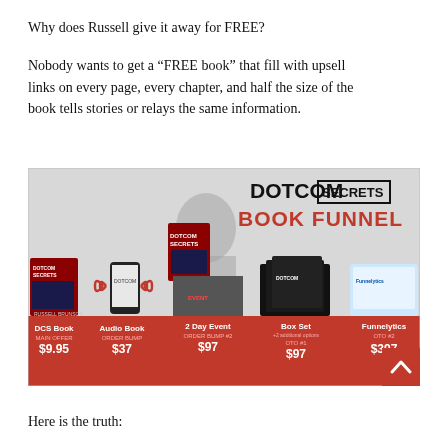Why does Russell give it away for FREE?
Nobody wants to get a “FREE book” that fill with upsell links on every page, every chapter, and half the size of the book tells stories or relays the same information.
[Figure (infographic): DotCom Secrets Book Funnel infographic showing: DCS Book (Main Offer) $9.95, Audio Book (Order Bump) $37, 2 Day Event (Order Bump #2) $97, Box Set +2 additional options (OTO #1) $97, Funnelytics (OTO #2) $397. Person holding DotCom Secrets book with red and white banner background.]
Here is the truth: